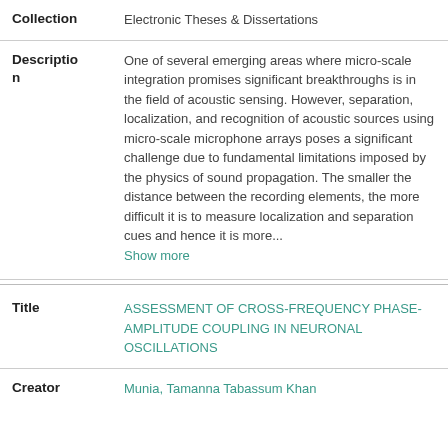| Field | Value |
| --- | --- |
| Collection | Electronic Theses & Dissertations |
| Description | One of several emerging areas where micro-scale integration promises significant breakthroughs is in the field of acoustic sensing. However, separation, localization, and recognition of acoustic sources using micro-scale microphone arrays poses a significant challenge due to fundamental limitations imposed by the physics of sound propagation. The smaller the distance between the recording elements, the more difficult it is to measure localization and separation cues and hence it is more... Show more |
| Title | ASSESSMENT OF CROSS-FREQUENCY PHASE-AMPLITUDE COUPLING IN NEURONAL OSCILLATIONS |
| Creator | Munia, Tamanna Tabassum Khan |